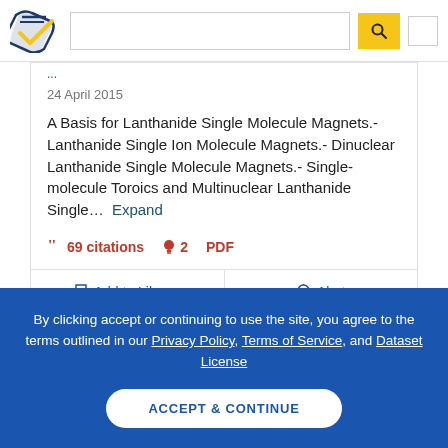Semantic Scholar search interface header with logo, search box, and search button
24 April 2015
A Basis for Lanthanide Single Molecule Magnets.- Lanthanide Single Ion Molecule Magnets.- Dinuclear Lanthanide Single Molecule Magnets.- Single-molecule Toroics and Multinuclear Lanthanide Single... Expand
69citations  2  PDF
Add to Library  Alert
By clicking accept or continuing to use the site, you agree to the terms outlined in our Privacy Policy, Terms of Service, and Dataset License
ACCEPT & CONTINUE